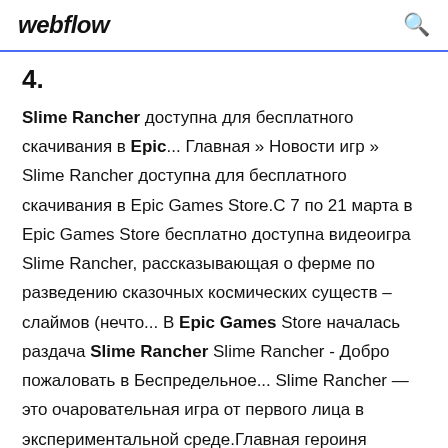webflow
4.
Slime Rancher доступна для бесплатного скачивания в Epic... Главная » Новости игр » Slime Rancher доступна для бесплатного скачивания в Epic Games Store.С 7 по 21 марта в Epic Games Store бесплатно доступна видеоигра Slime Rancher, рассказывающая о ферме по разведению сказочных космических существ – слаймов (нечто... В Epic Games Store началась раздача Slime Rancher Slime Rancher - Добро пожаловать в Беспредельное... Slime Rancher — это очаровательная игра от первого лица в экспериментальной среде.Главная героиня разводит слаймов — разноцветных